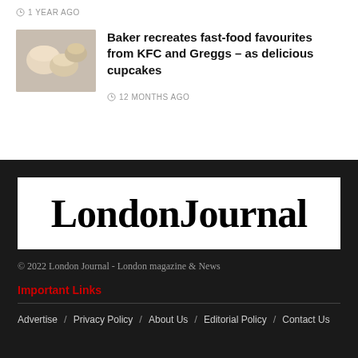1 YEAR AGO
[Figure (photo): Thumbnail image of cupcakes resembling fast food items]
Baker recreates fast-food favourites from KFC and Greggs – as delicious cupcakes
12 MONTHS AGO
[Figure (logo): London Journal logo in large bold serif font on white background]
© 2022 London Journal - London magazine & News
Important Links
Advertise / Privacy Policy / About Us / Editorial Policy / Contact Us